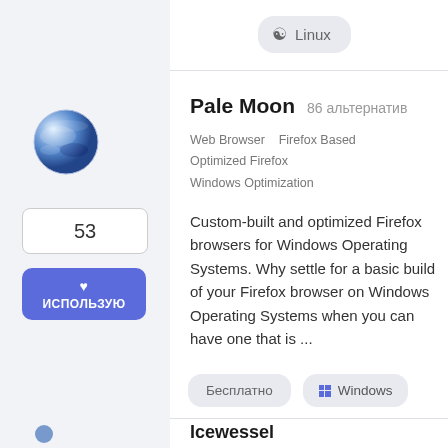Linux
Pale Moon  86 альтернатив
Web Browser   Firefox Based   Optimized Firefox   Windows Optimization
Custom-built and optimized Firefox browsers for Windows Operating Systems. Why settle for a basic build of your Firefox browser on Windows Operating Systems when you can have one that is ...
Бесплатно   Windows
53
ИСПОЛЬЗУЮ